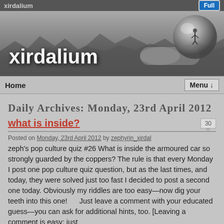xirdalium  Full
[Figure (illustration): Black and white banner image showing rocky lunar/alien terrain landscape with 'xirdalium' text overlaid in large white letters, and a reflective sphere/helmet visible on the right side.]
Home  Menu ↓
Daily Archives: Monday, 23rd April 2012
what is inside?
Posted on Monday, 23rd April 2012 by zephyrin_xirdal
zeph's pop culture quiz #26 What is inside the armoured car so strongly guarded by the coppers? The rule is that every Monday I post one pop culture quiz question, but as the last times, and today, they were solved just too fast I decided to post a second one today. Obviously my riddles are too easy—now dig your teeth into this one!      Just leave a comment with your educated guess—you can ask for additional hints, too. [Leaving a comment is easy; just